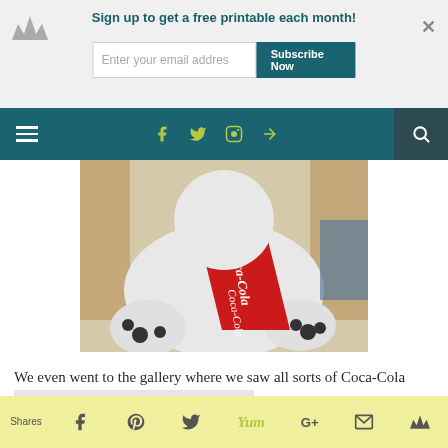Sign up to get a free printable each month! [email input] Subscribe Now
Navigation bar with hamburger menu, social icons (Facebook, Twitter, Instagram, RSS), and search
[Figure (photo): Large stuffed polar bear toy laying on its back with a red Coca-Cola sash/ribbon across its body. The bear has black paw markings. A person is partially visible in the background.]
We even went to the gallery where we saw all sorts of Coca-Cola inspired art:
[Figure (photo): Partial view of a gallery display showing Coca-Cola inspired artwork and prints.]
Shares  [Facebook] [Pinterest] [Twitter] [Yum] [Google+] [Email] [Crown]